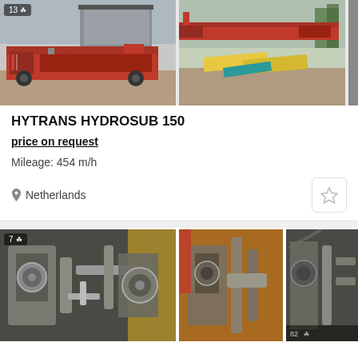[Figure (photo): Red industrial equipment (Hytrans Hydrosub 150) in outdoor setting, two main photos side by side with badge showing 13 images]
HYTRANS HYDROSUB 150
price on request
Mileage: 454 m/h
Netherlands
[Figure (photo): Close-up photos of mechanical/hydraulic pump engine components, three photos side by side with badge showing 7 images]